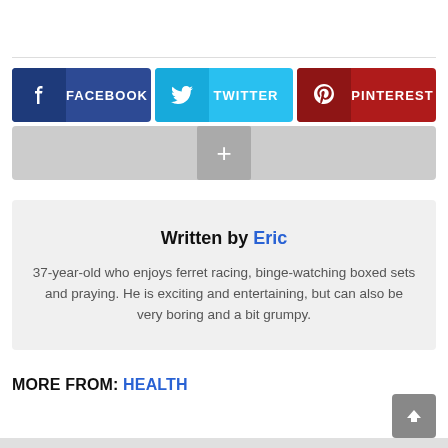[Figure (other): Social share buttons row: Facebook (blue), Twitter (cyan), Pinterest (red), plus a gray more-options bar with a plus icon]
Written by Eric
37-year-old who enjoys ferret racing, binge-watching boxed sets and praying. He is exciting and entertaining, but can also be very boring and a bit grumpy.
MORE FROM: HEALTH